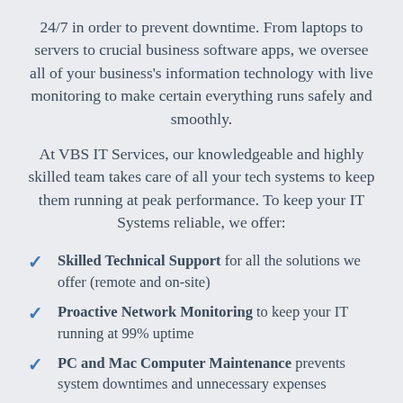24/7 in order to prevent downtime. From laptops to servers to crucial business software apps, we oversee all of your business's information technology with live monitoring to make certain everything runs safely and smoothly.
At VBS IT Services, our knowledgeable and highly skilled team takes care of all your tech systems to keep them running at peak performance. To keep your IT Systems reliable, we offer:
Skilled Technical Support for all the solutions we offer (remote and on-site)
Proactive Network Monitoring to keep your IT running at 99% uptime
PC and Mac Computer Maintenance prevents system downtimes and unnecessary expenses